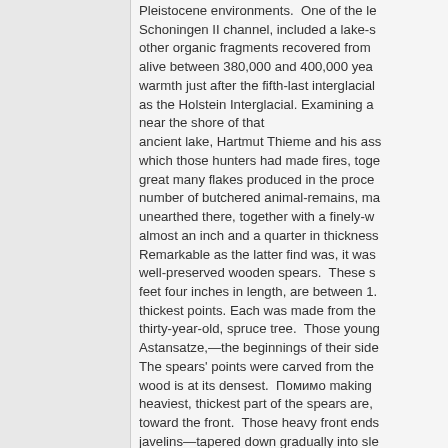Pleistocene environments.  One of the le... Schoningen II channel, included a lake-s... other organic fragments recovered from ... alive between 380,000 and 400,000 yea... warmth just after the fifth-last interglacial... as the Holstein Interglacial. Examining a... near the shore of that ancient lake, Hartmut Thieme and his ass... which those hunters had made fires, toge... great many flakes produced in the proce... number of butchered animal-remains, ma... unearthed there, together with a finely-w... almost an inch and a quarter in thickness... Remarkable as the latter find was, it was... well-preserved wooden spears.  These s... feet four inches in length, are between 1.... thickest points. Each was made from the... thirty-year-old, spruce tree.  Those young... Astansatze,—the beginnings of their side... The spears' points were carved from the... wood is at its densest.  Помимо making... heaviest, thickest part of the spears are,... toward the front.  Those heavy front ends... javelins—tapered down gradually into sle... center of gravity about a third of the way... There had been previous indications that... used wooden spears to hunt big game.  ... reasonably well-preserved yew spear wa... dating from the last interglacial 125,000 y... have been a spear was found at Clact...